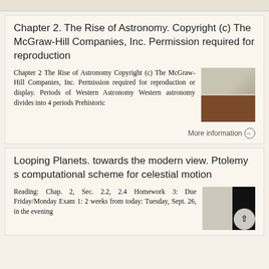Chapter 2. The Rise of Astronomy. Copyright (c) The McGraw-Hill Companies, Inc. Permission required for reproduction
Chapter 2 The Rise of Astronomy Copyright (c) The McGraw-Hill Companies, Inc. Permission required for reproduction or display. Periods of Western Astronomy Western astronomy divides into 4 periods Prehistoric
[Figure (photo): Thumbnail images of astronomy-related document pages]
More information →
Looping Planets. towards the modern view. Ptolemy s computational scheme for celestial motion
Reading: Chap. 2, Sec. 2.2, 2.4 Homework 3: Due Friday/Monday Exam 1: 2 weeks from today: Tuesday, Sept. 26, in the evening
[Figure (photo): Thumbnail images related to Looping Planets lecture content]